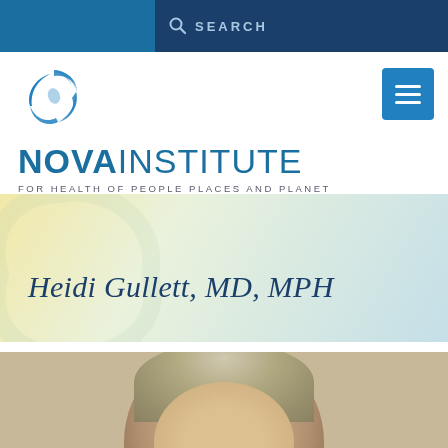SEARCH
[Figure (logo): Nova Institute for Health of People Places and Planet logo with circular swoosh icon in blue]
Heidi Gullett, MD, MPH
[Figure (photo): Portrait photo of Heidi Gullett, MD, MPH — a woman with short gray-blond hair and glasses, cropped at top of page bottom]